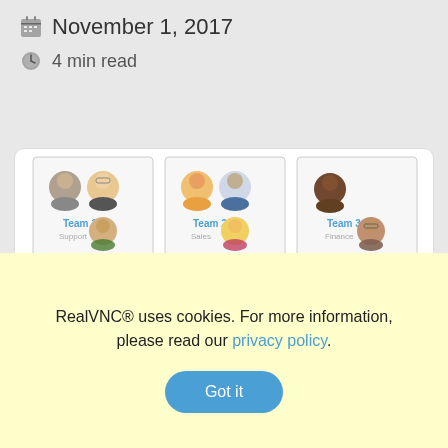November 1, 2017
4 min read
[Figure (organizational-chart): Organizational chart showing Team 1 (Support), Team 2 (Sales), Team 3 (Finance) each with avatar icons, connected by dashed lines to computer monitors below.]
RealVNC® uses cookies. For more information, please read our privacy policy.
Got it